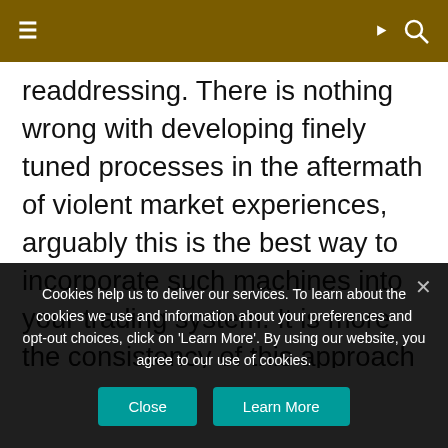≡  ) 🔍
readdressing. There is nothing wrong with developing finely tuned processes in the aftermath of violent market experiences, arguably this is the best way to incorporate such machines into your trading system. It is more the consistency of this approach that is so key for survival in this game, if only traumatic market experiences force you to question your current learning curve you are treading a futile path. Riding the highs and lows of this pursuit is simply human, in
Cookies help us to deliver our services. To learn about the cookies we use and information about your preferences and opt-out choices, click on 'Learn More'. By using our website, you agree to our use of cookies.
Close
Learn More